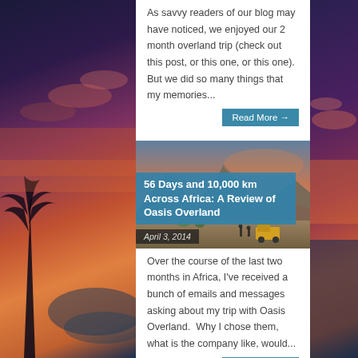As savvy readers of our blog may have noticed, we enjoyed our 2 month overland trip (check out this post, or this one, or this one). But we did so many things that my memories...
Read More →
[Figure (photo): Desert/mountain landscape at sunset with people and a yellow truck in the foreground]
56 Days and 10,000 km Across Africa: A Review of Oasis Overland
April 3, 2014
Over the course of the last two months in Africa, I've received a bunch of emails and messages asking about my trip with Oasis Overland.  Why I chose them, what is the company like, would...
Read More →